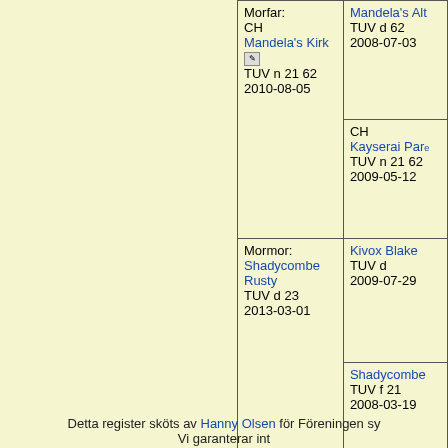| Morfar:
CH
Mandela's Kirk
TUV n 21 62
2010-08-05 | Mandela's Alt
TUV d 62
2008-07-03 |
|  | CH
Kayserai Par
TUV n 21 62
2009-05-12 |
| Mormor:
Shadycombe Rusty
TUV d 23
2013-03-01 | Kivox Blake
TUV d
2009-07-29 |
|  | Shadycombe
TUV f 21
2008-03-19 |
Detta register sköts av Hanny Olsen för Föreningen sy
Vi garanterar int